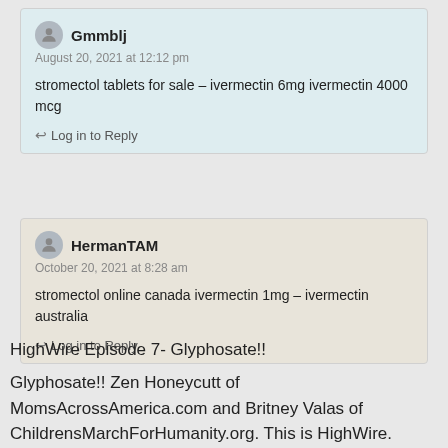Gmmblj
August 20, 2021 at 12:12 pm
stromectol tablets for sale – ivermectin 6mg ivermectin 4000 mcg
Log in to Reply
HermanTAM
October 20, 2021 at 8:28 am
stromectol online canada ivermectin 1mg – ivermectin australia
Log in to Reply
HighWire Episode 7- Glyphosate!!
Glyphosate!! Zen Honeycutt of MomsAcrossAmerica.com and Britney Valas of ChildrensMarchForHumanity.org. This is HighWire. #HighWire